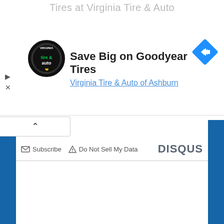Tires at Virginia Tire & Auto
[Figure (logo): Virginia Tire & Auto circular logo, black background with green and white text]
Save Big on Goodyear Tires
Virginia Tire & Auto of Ashburn
[Figure (other): Blue diamond navigation/directions icon]
Subscribe
Do Not Sell My Data
DISQUS